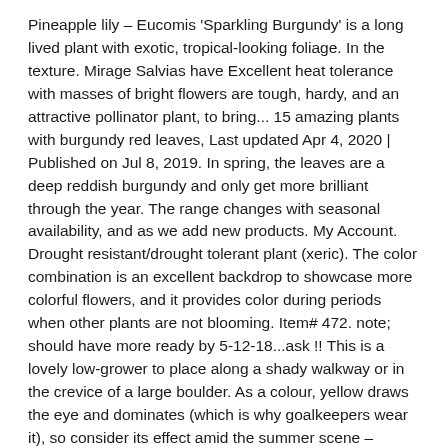Pineapple lily – Eucomis 'Sparkling Burgundy' is a long lived plant with exotic, tropical-looking foliage. In the texture. Mirage Salvias have Excellent heat tolerance with masses of bright flowers are tough, hardy, and an attractive pollinator plant, to bring... 15 amazing plants with burgundy red leaves, Last updated Apr 4, 2020 | Published on Jul 8, 2019. In spring, the leaves are a deep reddish burgundy and only get more brilliant through the year. The range changes with seasonal availability, and as we add new products. My Account. Drought resistant/drought tolerant plant (xeric). The color combination is an excellent backdrop to showcase more colorful flowers, and it provides color during periods when other plants are not blooming. Item# 472. note; should have more ready by 5-12-18...ask !! This is a lovely low-grower to place along a shady walkway or in the crevice of a large boulder. As a colour, yellow draws the eye and dominates (which is why goalkeepers wear it), so consider its effect amid the summer scene – planting yellow foliage alongside lime or burgundy helps to soften it. Anchient plant. Search. Also called nerve plant, mosaic plant (Fittonia albivenis) is a trailing plant with deeply ... See the remarkable array of burgundy hues in plants and flowers featured and USDA Gardeners Search, Reworked this Red And Burgundy...